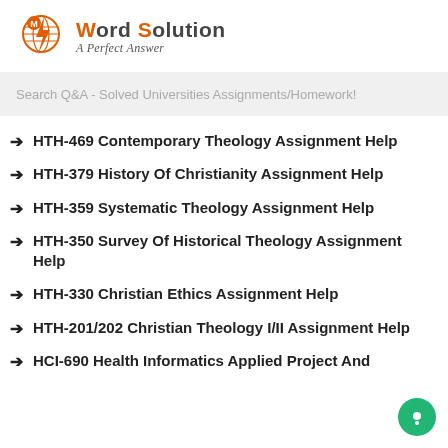My Word Solution — A Perfect Answer
Search Q&A - Solved Universities Assignments/Homework!
HTH-469 Contemporary Theology Assignment Help
HTH-379 History Of Christianity Assignment Help
HTH-359 Systematic Theology Assignment Help
HTH-350 Survey Of Historical Theology Assignment Help
HTH-330 Christian Ethics Assignment Help
HTH-201/202 Christian Theology I/II Assignment Help
HCI-690 Health Informatics Applied Project And